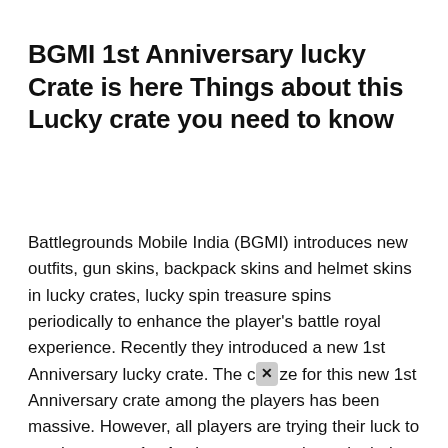BGMI 1st Anniversary lucky Crate is here Things about this Lucky crate you need to know
Battlegrounds Mobile India (BGMI) introduces new outfits, gun skins, backpack skins and helmet skins in lucky crates, lucky spin treasure spins periodically to enhance the player's battle royal experience. Recently they introduced a new 1st Anniversary lucky crate. The craze for this new 1st Anniversary crate among the players has been massive. However, all players are trying their luck to get these new 1st Anniversary crate items in their hands. So, let's talk about these outfits, skins and much more.